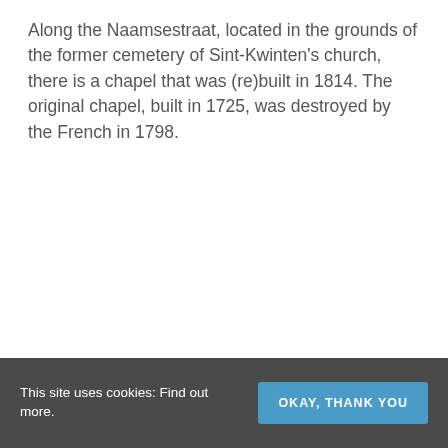Along the Naamsestraat, located in the grounds of the former cemetery of Sint-Kwinten's church, there is a chapel that was (re)built in 1814. The original chapel, built in 1725, was destroyed by the French in 1798.
This site uses cookies: Find out more.